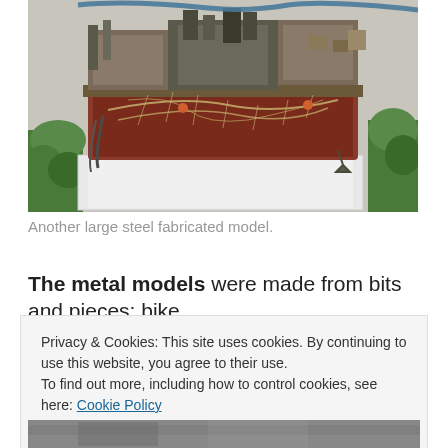[Figure (photo): A large steel fabricated model ship/boat displayed outdoors against a white wall, with green plants on either side. The model features visible machinery, chains, nets, and various metal components in rusty brown and weathered colors.]
Another large steel fabricated model.
The metal models were made from bits and pieces: bike
Privacy & Cookies: This site uses cookies. By continuing to use this website, you agree to their use.
To find out more, including how to control cookies, see here: Cookie Policy
[Figure (photo): Partial view of another photo at the bottom of the page, mostly obscured.]